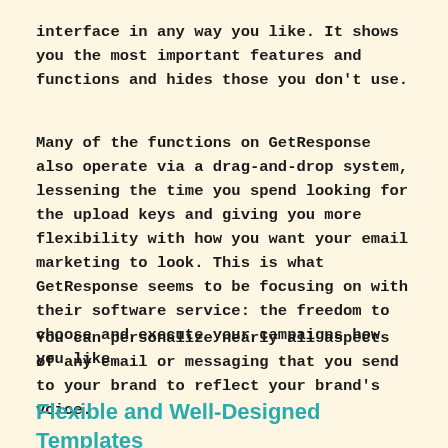interface in any way you like. It shows you the most important features and functions and hides those you don't use.
Many of the functions on GetResponse also operate via a drag-and-drop system, lessening the time you spend looking for the upload keys and giving you more flexibility with how you want your email marketing to look. This is what GetResponse seems to be focusing on with their software service: the freedom to choose and execute your campaigns how you like.
You can personalize nearly all aspects of any email or messaging that you send to your brand to reflect your brand's voice.
Flexible and Well-Designed Templates